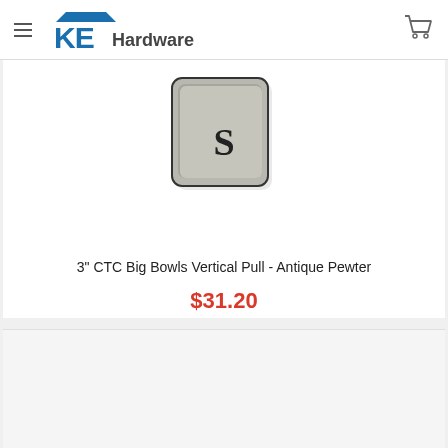KE Hardware
[Figure (photo): Hardware pull product photo - square metallic pull with brushed silver finish and black 'S' letter visible, antique pewter finish]
3" CTC Big Bowls Vertical Pull - Antique Pewter
$31.20
NOTT-NHP-344-AP
[Figure (photo): Second product card area - light gray background, partially visible]